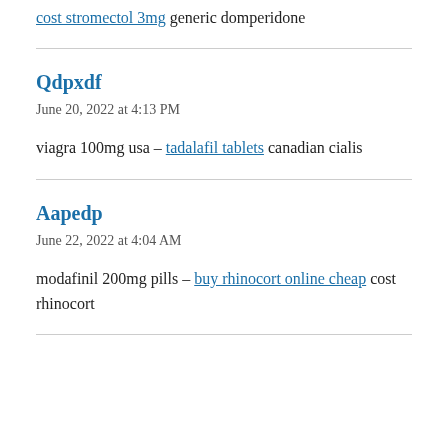cost stromectol 3mg generic domperidone
Qdpxdf
June 20, 2022 at 4:13 PM
viagra 100mg usa – tadalafil tablets canadian cialis
Aapedp
June 22, 2022 at 4:04 AM
modafinil 200mg pills – buy rhinocort online cheap cost rhinocort